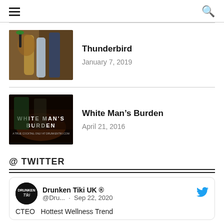☰ [hamburger menu] | 🔍 [search icon]
[Figure (photo): Cocktail drink in a glass with herbs and bottles of spirits in the background]
Thunderbird
January 7, 2019
[Figure (photo): Dark background with White Man's Burden text overlay]
White Man's Burden
April 21, 2016
@ TWITTER
Drunken Tiki UK ®
@Dru... · Sep 22, 2020
CTEO  Hottest Wellness Trend